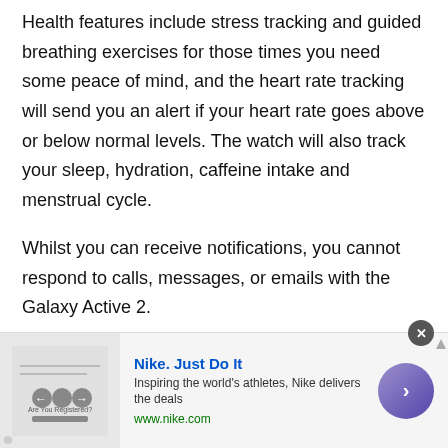Health features include stress tracking and guided breathing exercises for those times you need some peace of mind, and the heart rate tracking will send you an alert if your heart rate goes above or below normal levels. The watch will also track your sleep, hydration, caffeine intake and menstrual cycle.
Whilst you can receive notifications, you cannot respond to calls, messages, or emails with the Galaxy Active 2.
Battery Life
With any watch, the battery life depends on usage;
[Figure (other): Nike advertisement banner overlay. Shows Nike swoosh logo image on left, text 'Nike. Just Do It' in blue, tagline 'Inspiring the world's athletes, Nike delivers the deals', URL 'www.nike.com', and a purple circular CTA button with right arrow on the right.]